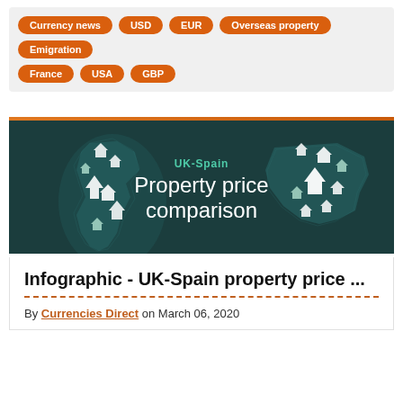Currency news
USD
EUR
Overseas property
Emigration
France
USA
GBP
[Figure (infographic): Dark teal banner showing maps of UK and Spain with house icons overlaid, with text 'UK-Spain Property price comparison' in the center]
Infographic - UK-Spain property price ...
By Currencies Direct on March 06, 2020